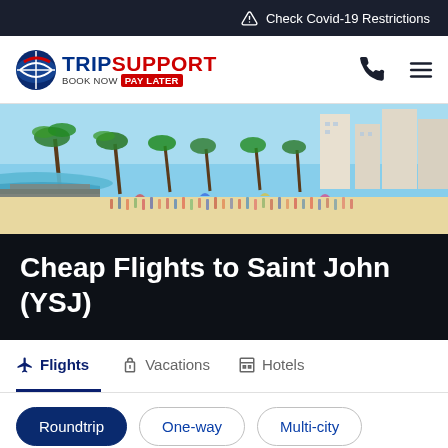Check Covid-19 Restrictions
[Figure (logo): Trip Support logo with globe icon. Text reads TRIP SUPPORT with tagline BOOK NOW PAY LATER]
[Figure (photo): Tropical beach scene with palm trees, resort buildings, clear blue water, and many beachgoers. Sunny day.]
Cheap Flights to Saint John (YSJ)
Flights
Vacations
Hotels
Roundtrip
One-way
Multi-city